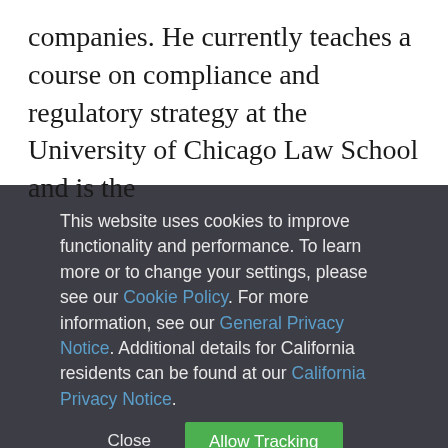companies. He currently teaches a course on compliance and regulatory strategy at the University of Chicago Law School and is the
This website uses cookies to improve functionality and performance. To learn more or to change your settings, please see our Cookie Policy. For more information, see our General Privacy Notice. Additional details for California residents can be found at our California Privacy Notice.